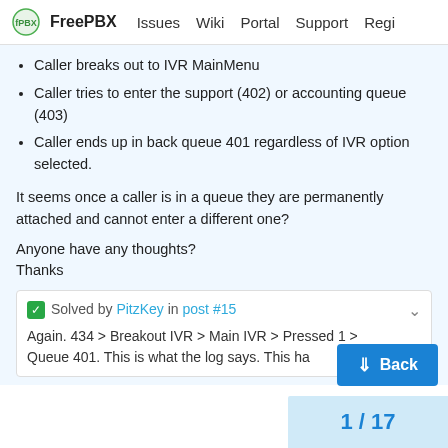FreePBX  Issues  Wiki  Portal  Support  Regi
Caller breaks out to IVR MainMenu
Caller tries to enter the support (402) or accounting queue (403)
Caller ends up in back queue 401 regardless of IVR option selected.
It seems once a caller is in a queue they are permanently attached and cannot enter a different one?
Anyone have any thoughts?
Thanks
✔ Solved by PitzKey in post #15
Again. 434 > Breakout IVR > Main IVR > Pressed 1 > Queue 401. This is what the log says. This ha